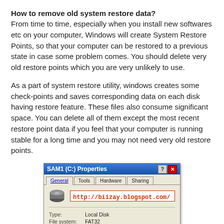How to remove old system restore data?
From time to time, especially when you install new softwares etc on your computer, Windows will create System Restore Points, so that your computer can be restored to a previous state in case some problem comes. You should delete very old restore points which you are very unlikely to use.
As a part of system restore utility, windows creates some check-points and saves corresponding data on each disk having restore feature. These files also consume significant space. You can delete all of them except the most recent restore point data if you feel that your computer is running stable for a long time and you may not need very old restore points.
[Figure (screenshot): Windows XP SAM1 (C:) Properties dialog box showing General tab with a disk icon, URL http://biizay.blogspot.com/, Type: Local Disk, File system: FAT32, Used space: 10,101,825,536 bytes 9.40 GB]